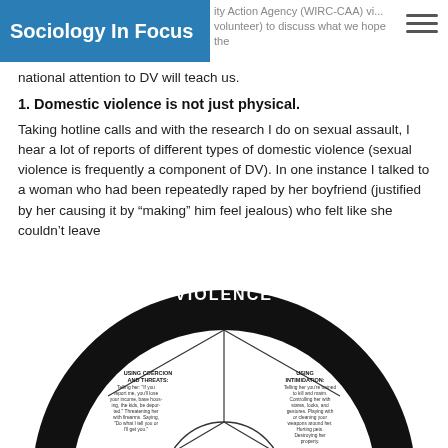Sociology In Focus | ity Action Agency (WIRC-CAA) vi... | volunteer) to discuss what we hope the
national attention to DV will teach us.
1. Domestic violence is not just physical.
Taking hotline calls and with the research I do on sexual assault, I hear a lot of reports of different types of domestic violence (sexual violence is frequently a component of DV). In one instance I talked to a woman who had been repeatedly raped by her boyfriend (justified by her causing it by “making” him feel jealous) who felt like she couldn’t leave
[Figure (infographic): Power and Control Wheel diagram showing types of domestic violence including physical, sexual, using coercion and threats, using intimidation, using emotional abuse, using isolation, minimizing/denying/blaming, and using children. Center reads POWER AND CONTROL.]